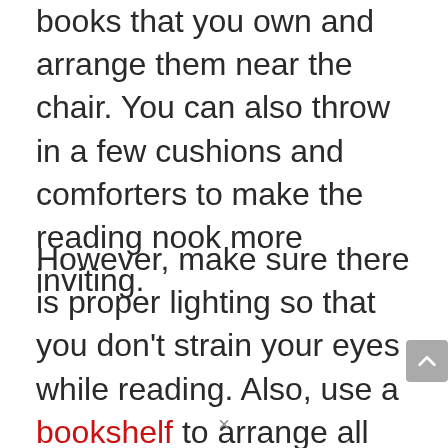books that you own and arrange them near the chair. You can also throw in a few cushions and comforters to make the reading nook more inviting.
However, make sure there is proper lighting so that you don't strain your eyes while reading. Also, use a bookshelf to arrange all the books. Otherwise, the room will look cluttered.